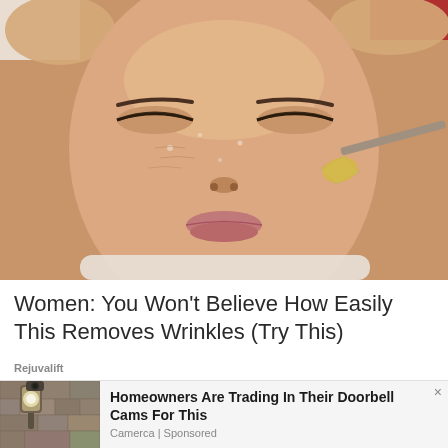[Figure (photo): Close-up of a woman's face with eyes closed receiving a facial treatment. A brush is applying a yellowish/golden gel or serum to her cheek. Her skin appears moist and glistening.]
Women: You Won't Believe How Easily This Removes Wrinkles (Try This)
Rejuvalift
[Figure (photo): Small thumbnail image of an outdoor security/wall light fixture mounted on a stone wall]
Homeowners Are Trading In Their Doorbell Cams For This
Camerca | Sponsored